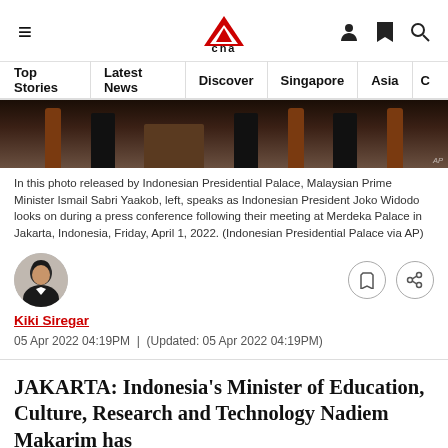CNA navigation header with hamburger menu, logo, user/bookmark/search icons
Top Stories | Latest News | Discover | Singapore | Asia | C
[Figure (photo): Photo of Malaysian Prime Minister Ismail Sabri Yaakob and Indonesian President Joko Widodo at Merdeka Palace press conference, with wooden pillars in background]
In this photo released by Indonesian Presidential Palace, Malaysian Prime Minister Ismail Sabri Yaakob, left, speaks as Indonesian President Joko Widodo looks on during a press conference following their meeting at Merdeka Palace in Jakarta, Indonesia, Friday, April 1, 2022. (Indonesian Presidential Palace via AP)
[Figure (photo): Author headshot of Kiki Siregar]
Kiki Siregar
05 Apr 2022 04:19PM  |  (Updated: 05 Apr 2022 04:19PM)
JAKARTA: Indonesia's Minister of Education, Culture, Research and Technology Nadiem Makarim has